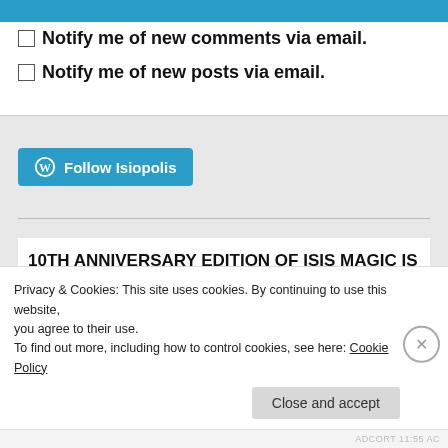[Figure (other): Blue submit/post button bar at top of page]
Notify me of new comments via email.
Notify me of new posts via email.
[Figure (other): Follow Isiopolis button with WordPress logo on gray background]
10TH ANNIVERSARY EDITION OF ISIS MAGIC IS AVAILABLE FROM ABIEGNUS HOUSE AT THE ORIGINAL $29.95 PRICE. CLICK ON THE IMAGE.
Privacy & Cookies: This site uses cookies. By continuing to use this website, you agree to their use.
To find out more, including how to control cookies, see here: Cookie Policy
Close and accept
ADCORT 11:55 AC